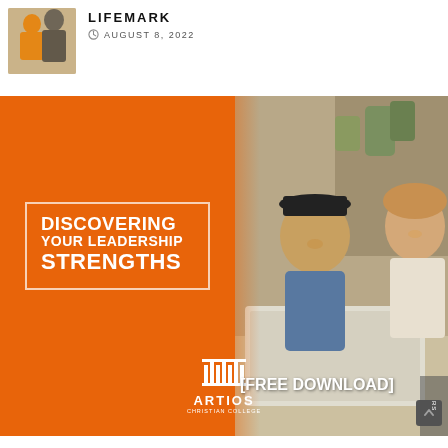[Figure (photo): Two people outdoors smiling, wearing casual clothes]
LIFEMARK
AUGUST 8, 2022
[Figure (infographic): Orange promotional banner for Artios Christian College reading 'Discovering Your Leadership Strengths' with a [FREE DOWNLOAD] label, showing two smiling people working on a laptop in background]